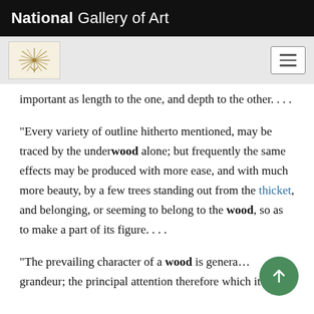National Gallery of Art
important as length to the one, and depth to the other. . . .
“Every variety of outline hitherto mentioned, may be traced by the underwood alone; but frequently the same effects may be produced with more ease, and with much more beauty, by a few trees standing out from the thicket, and belonging, or seeming to belong to the wood, so as to make a part of its figure. . . .
“The prevailing character of a wood is generally grandeur; the principal attention therefore which it